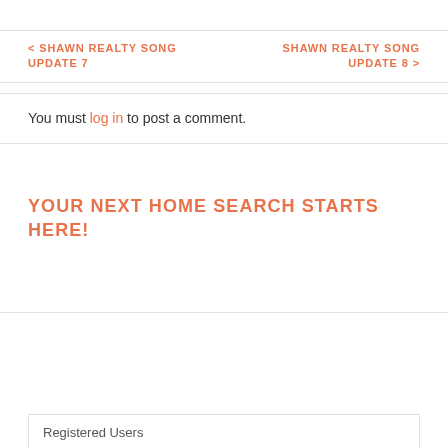< SHAWN REALTY SONG UPDATE 7
SHAWN REALTY SONG UPDATE 8 >
You must log in to post a comment.
YOUR NEXT HOME SEARCH STARTS HERE!
Registered Users